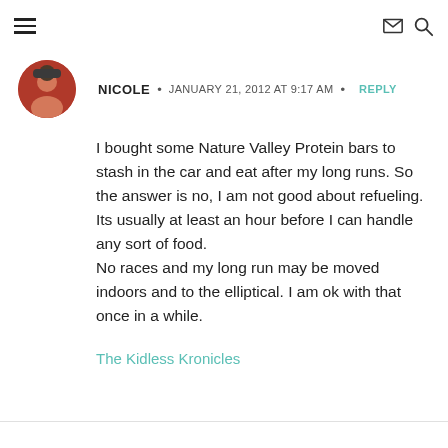Navigation header with hamburger menu, envelope icon, and search icon
NICOLE • JANUARY 21, 2012 AT 9:17 AM • REPLY
I bought some Nature Valley Protein bars to stash in the car and eat after my long runs. So the answer is no, I am not good about refueling. Its usually at least an hour before I can handle any sort of food. No races and my long run may be moved indoors and to the elliptical. I am ok with that once in a while.
The Kidless Kronicles